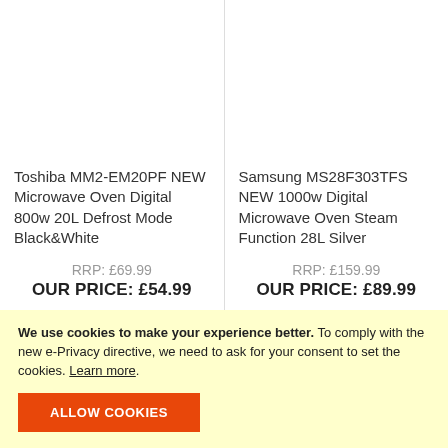Toshiba MM2-EM20PF NEW Microwave Oven Digital 800w 20L Defrost Mode Black&White
RRP: £69.99
OUR PRICE: £54.99
Samsung MS28F303TFS NEW 1000w Digital Microwave Oven Steam Function 28L Silver
RRP: £159.99
OUR PRICE: £89.99
We use cookies to make your experience better. To comply with the new e-Privacy directive, we need to ask for your consent to set the cookies. Learn more.
ALLOW COOKIES